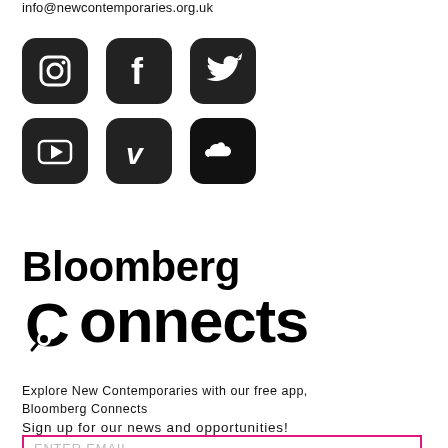info@newcontemporaries.org.uk
[Figure (infographic): Six social media icons in two rows: Instagram, Facebook, Twitter (top row); YouTube, Vimeo, SoundCloud (bottom row). All icons are white on dark rounded-square backgrounds.]
[Figure (logo): Bloomberg Connects logo. 'Bloomberg' in bold black on first line, 'Connects' in very large bold black on second line with a magnifying glass replacing the 'o' in 'Connects'.]
Explore New Contemporaries with our free app, Bloomberg Connects
Sign up for our news and opportunities!
ENTER EMAIL